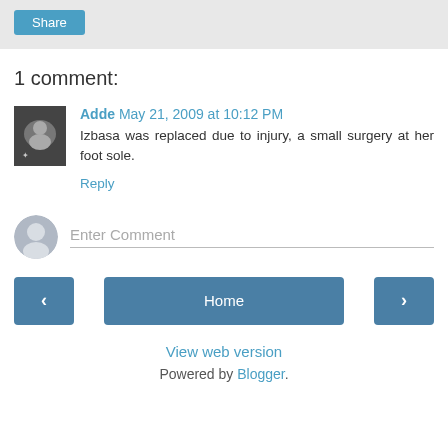[Figure (other): Share button on grey background bar]
1 comment:
Adde May 21, 2009 at 10:12 PM
Izbasa was replaced due to injury, a small surgery at her foot sole.
Reply
[Figure (other): Enter Comment field with default user avatar]
[Figure (other): Navigation bar with back arrow, Home button, and forward arrow]
View web version
Powered by Blogger.